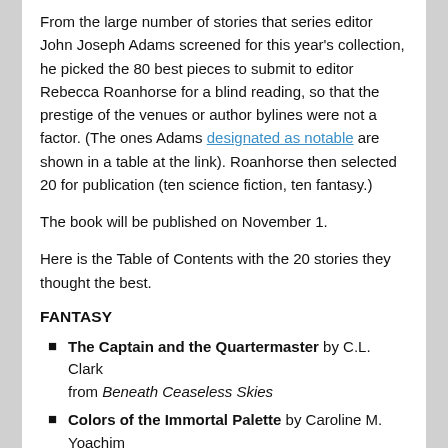From the large number of stories that series editor John Joseph Adams screened for this year's collection, he picked the 80 best pieces to submit to editor Rebecca Roanhorse for a blind reading, so that the prestige of the venues or author bylines were not a factor. (The ones Adams designated as notable are shown in a table at the link). Roanhorse then selected 20 for publication (ten science fiction, ten fantasy.)
The book will be published on November 1.
Here is the Table of Contents with the 20 stories they thought the best.
FANTASY
The Captain and the Quartermaster by C.L. Clark from Beneath Ceaseless Skies
Colors of the Immortal Palette by Caroline M. Yoachim from Uncanny